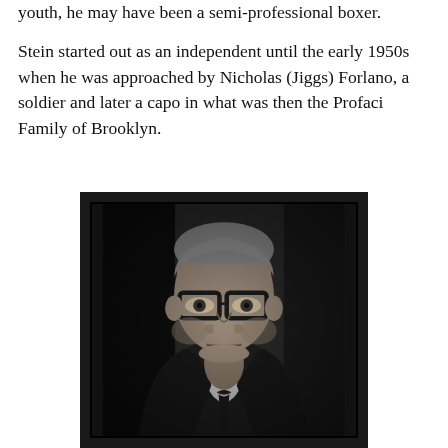youth, he may have been a semi-professional boxer.

Stein started out as an independent until the early 1950s when he was approached by Nicholas (Jiggs) Forlano, a soldier and later a capo in what was then the Profaci Family of Brooklyn.
[Figure (photo): Black and white portrait photograph of a middle-aged man wearing thick-rimmed glasses, a dark suit jacket, white dress shirt, and dark tie. He has short gray hair and is looking directly at the camera with a neutral expression.]